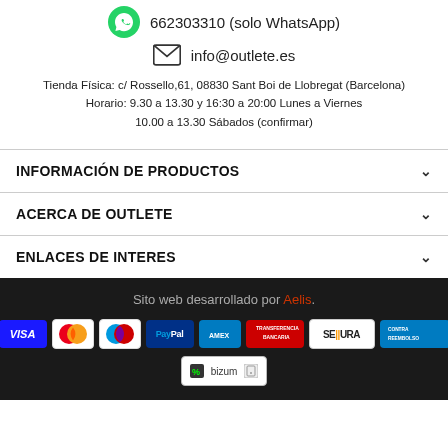662303310 (solo WhatsApp)
info@outlete.es
Tienda Física: c/ Rossello,61, 08830 Sant Boi de Llobregat (Barcelona)
Horario: 9.30 a 13.30 y 16:30 a 20:00 Lunes a Viernes
10.00 a 13.30 Sábados (confirmar)
INFORMACIÓN DE PRODUCTOS
ACERCA DE OUTLETE
ENLACES DE INTERES
Sito web desarrollado por Aelis.
[Figure (logo): Payment method logos: VISA, Mastercard, Maestro, PayPal, American Express, Transferencia Bancaria, SEGURA, Contrareembolso, Bizum]